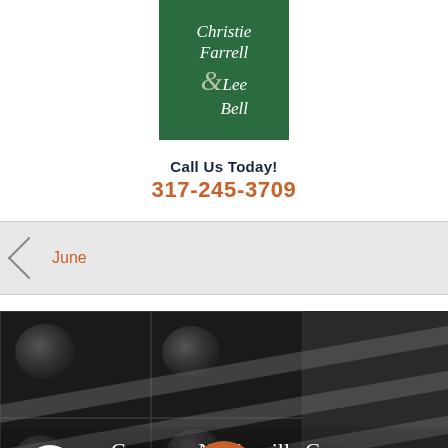[Figure (logo): Christie Farrell Lee & Bell law firm logo — green square with white serif text]
Call Us Today!
317-245-3709
June
[Figure (photo): Background photo of CT brain scan images in a dark grid layout with text overlay reading 'Common Noblesville Car Accident Injuries' and date 'June 21']
Common Noblesville Car Accident Injuries
June 21